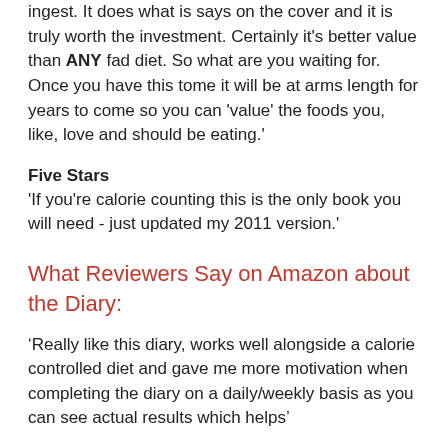ingest. It does what is says on the cover and it is truly worth the investment. Certainly it's better value than ANY fad diet. So what are you waiting for. Once you have this tome it will be at arms length for years to come so you can 'value' the foods you, like, love and should be eating.'
Five Stars
'If you're calorie counting this is the only book you will need - just updated my 2011 version.'
What Reviewers Say on Amazon about the Diary:
‘Really like this diary, works well alongside a calorie controlled diet and gave me more motivation when completing the diary on a daily/weekly basis as you can see actual results which helps’
‘I would definitely recommend it as I lost 20lb